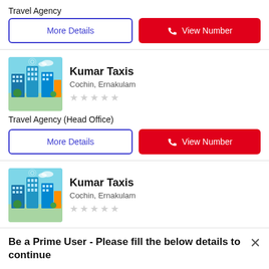Travel Agency
[Figure (other): More Details button with blue border and View Number red button with phone icon]
[Figure (photo): City illustration with blue sky and buildings for Kumar Taxis listing 1]
Kumar Taxis
Cochin, Ernakulam
Travel Agency (Head Office)
[Figure (other): More Details button with blue border and View Number red button with phone icon]
[Figure (photo): City illustration with blue sky and buildings for Kumar Taxis listing 2]
Kumar Taxis
Cochin, Ernakulam
Be a Prime User - Please fill the below details to continue